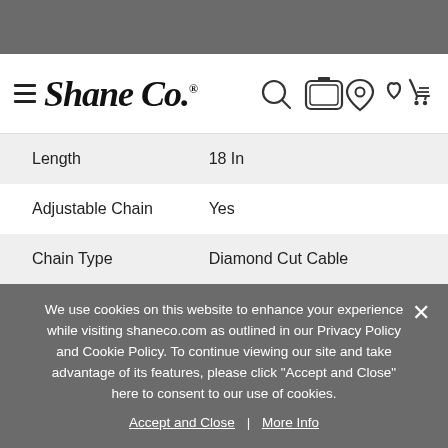[Figure (logo): Shane Co. logo with hamburger menu and navigation icons (search, camera, location, heart, cart)]
| Length | 18 In |
| Adjustable Chain | Yes |
| Chain Type | Diamond Cut Cable |
| Clasp Type | Lobster |
We use cookies on this website to enhance your experience while visiting shaneco.com as outlined in our Privacy Policy and Cookie Policy. To continue viewing our site and take advantage of its features, please click "Accept and Close" here to consent to our use of cookies.
Accept and Close | More Info